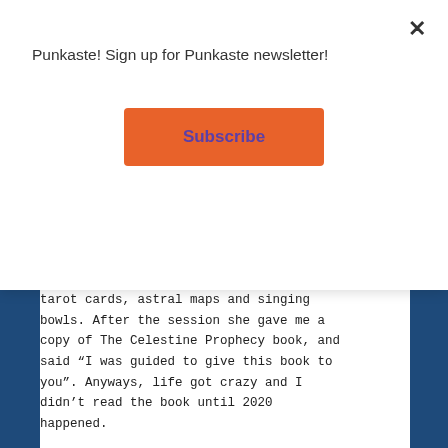Punkaste! Sign up for Punkaste newsletter!
Subscribe
tarot cards, astral maps and singing bowls. After the session she gave me a copy of The Celestine Prophecy book, and said “I was guided to give this book to you”. Anyways, life got crazy and I didn’t read the book until 2020 happened.
The other day the book pop up in my mind when I was passing by the office. I mean, it caught my attention and that same day I was talking to a childhood friend, and famous psychiatrist in